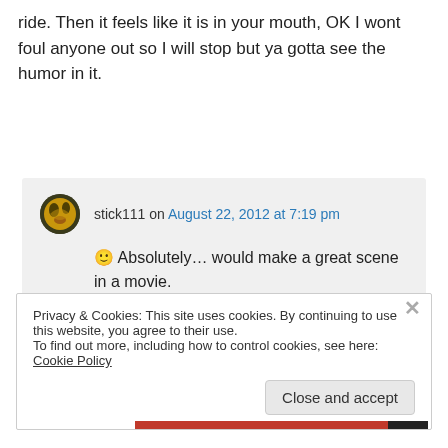ride. Then it feels like it is in your mouth, OK I wont foul anyone out so I will stop but ya gotta see the humor in it.
stick111 on August 22, 2012 at 7:19 pm
🙂 Absolutely… would make a great scene in a movie.
Privacy & Cookies: This site uses cookies. By continuing to use this website, you agree to their use.
To find out more, including how to control cookies, see here: Cookie Policy
Close and accept